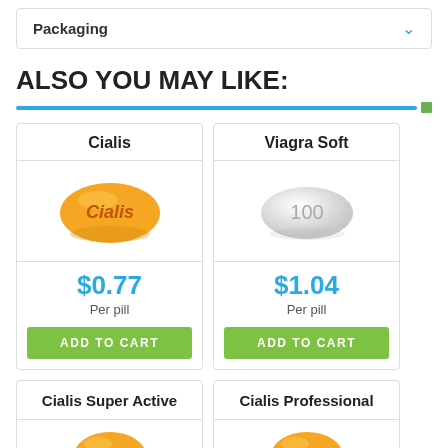Packaging
ALSO YOU MAY LIKE:
[Figure (illustration): Cialis product card with orange pill image, price $0.77 per pill, ADD TO CART button]
[Figure (illustration): Viagra Soft product card with white oval pill showing '100', price $1.04 per pill, ADD TO CART button]
[Figure (illustration): Cialis Super Active product card with yellow pill image (partially shown)]
[Figure (illustration): Cialis Professional product card with yellow pill image (partially shown)]